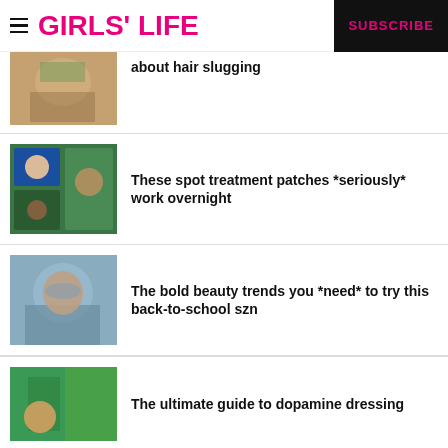GIRLS' LIFE | SUBSCRIBE
about hair slugging
These spot treatment patches *seriously* work overnight
The bold beauty trends you *need* to try this back-to-school szn
The ultimate guide to dopamine dressing